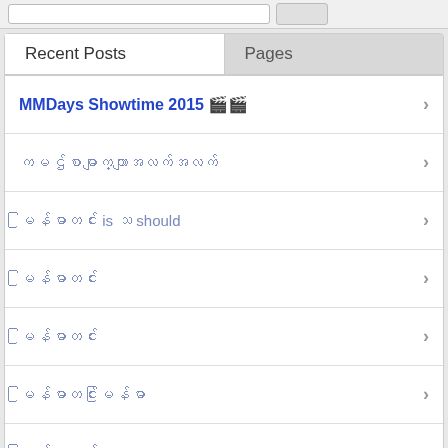Recent Posts
Pages
MMDays Showtime 2015 🎬🎬
Myanmar text link 1
Myanmar text is a should
Myanmar text link 3
Myanmar text link 4
Myanmar text link 5
Myanmar text link 6